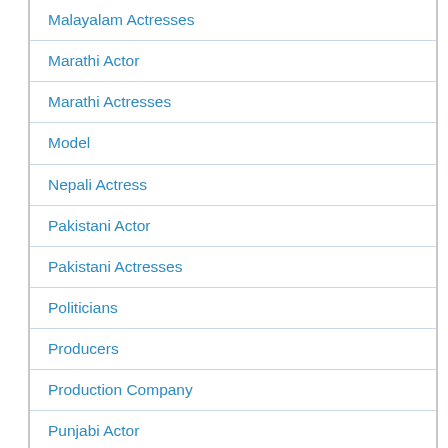Malayalam Actresses
Marathi Actor
Marathi Actresses
Model
Nepali Actress
Pakistani Actor
Pakistani Actresses
Politicians
Producers
Production Company
Punjabi Actor
Punjabi Actresses
Punjabi Singer
Singers
Tamil Actors